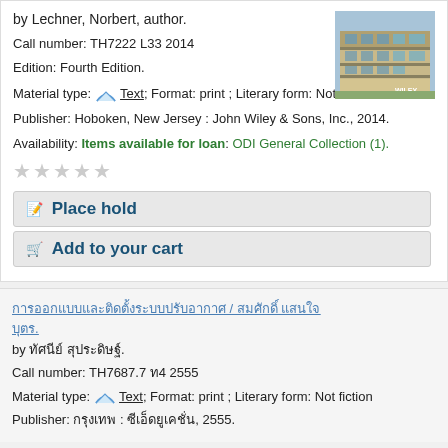by Lechner, Norbert, author.
Call number: TH7222 L33 2014
Edition: Fourth Edition.
Material type: Text; Format: print ; Literary form: Not fiction
Publisher: Hoboken, New Jersey : John Wiley & Sons, Inc., 2014.
Availability: Items available for loan: ODI General Collection (1).
[Figure (photo): Photo of a modern multi-story building exterior]
Place hold
Add to your cart
Thai title link
by Thai author
Call number: TH7687.7 ท4 2555
Material type: Text; Format: print ; Literary form: Not fiction
Publisher: Thai publisher, 2555.